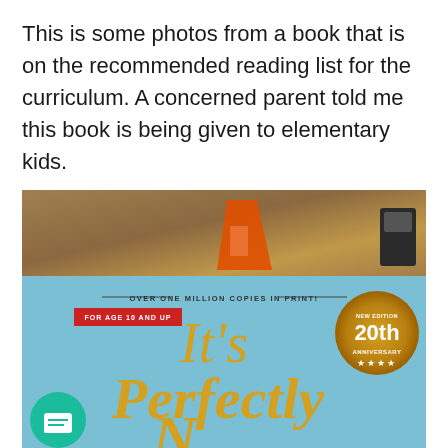This is some photos from a book that is on the recommended reading list for the curriculum. A concerned parent told me this book is being given to elementary kids.
[Figure (photo): Photo of a book cover for 'It's Perfectly N...' (It's Perfectly Normal), a 20th Anniversary New Edition, labeled 'For Age 10 and Up' with a red badge, gold anniversary seal, and text 'Over One Million Copies in Print!'. Book has a light blue cover with gold/yellow italic serif title text. Photographed on a carpet with small toy figures visible at top.]